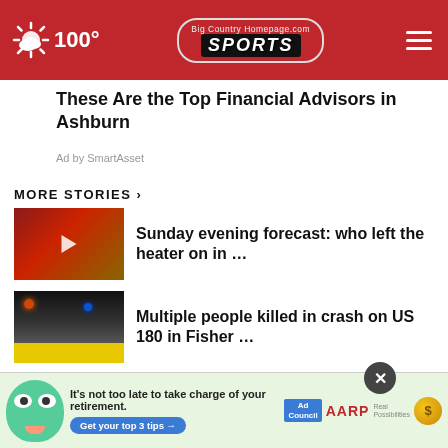Big Country Homepage.com SPORTS — 100° weather
These Are the Top Financial Advisors in Ashburn
Ad by SmartAsset
MORE STORIES ›
Sunday evening forecast: who left the heater on in …
Multiple people killed in crash on US 180 in Fisher …
BCH Sports Cheerleaders of the Week: Albany
al
[Figure (screenshot): AARP retirement ad banner: green mascot character, 'It's not too late to take charge of your retirement. Get your top 3 tips →', Ad Council logo, AARP logo, coin sun icon]